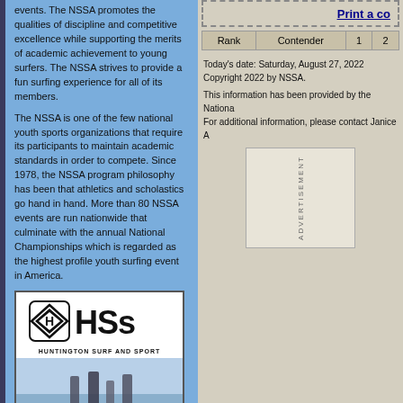events. The NSSA promotes the qualities of discipline and competitive excellence while supporting the merits of academic achievement to young surfers. The NSSA strives to provide a fun surfing experience for all of its members.
The NSSA is one of the few national youth sports organizations that require its participants to maintain academic standards in order to compete. Since 1978, the NSSA program philosophy has been that athletics and scholastics go hand in hand. More than 80 NSSA events are run nationwide that culminate with the annual National Championships which is regarded as the highest profile youth surfing event in America.
[Figure (logo): HSS Huntington Surf and Sport logo with diamond-H icon above surfers in water]
Print a co
| Rank | Contender | 1 | 2 |
| --- | --- | --- | --- |
Today's date: Saturday, August 27, 2022
Copyright 2022 by NSSA.
This information has been provided by the Nationa... For additional information, please contact Janice A...